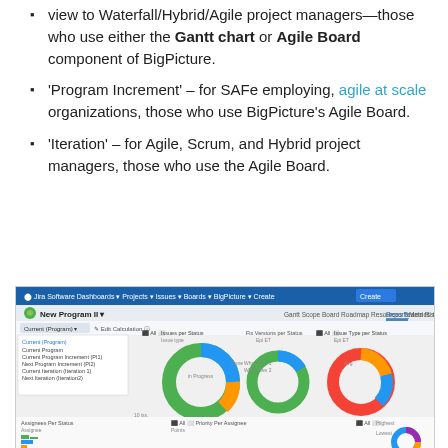view to Waterfall/Hybrid/Agile project managers—those who use either the Gantt chart or Agile Board component of BigPicture.
'Program Increment' – for SAFe employing, agile at scale organizations, those who use BigPicture's Agile Board.
'Iteration' – for Agile, Scrum, and Hybrid project managers, those who use the Agile Board.
[Figure (screenshot): Screenshot of BigPicture software interface showing New Program II with Reports tab active, displaying three donut charts: Issues per Status (large green/blue/orange donut), Issues Type per Status (red/orange/blue donut), Fix Versions per Status (green/blue donut). Bottom portion shows partial bar charts for Assignees per Status and Priority per Assignee, plus a partial donut chart.]